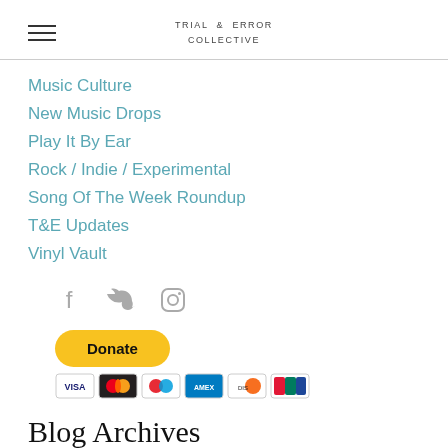TRIAL & ERROR COLLECTIVE
Music Culture
New Music Drops
Play It By Ear
Rock / Indie / Experimental
Song Of The Week Roundup
T&E Updates
Vinyl Vault
[Figure (infographic): Social media icons: Facebook (f), Twitter (bird), Instagram (camera)]
[Figure (infographic): PayPal Donate button (yellow rounded rectangle) with payment card icons below: Visa, Mastercard, Maestro, American Express, Discover, UnionPay]
Blog Archives